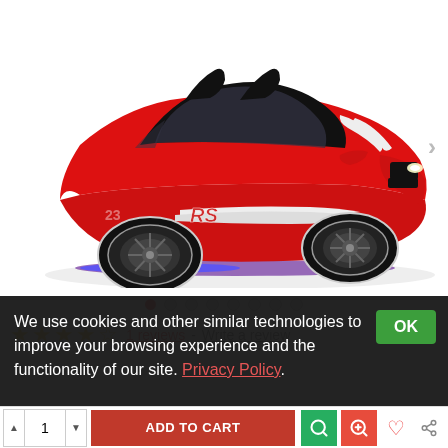[Figure (photo): Red race car bed shaped like a sports car (Mustang-style) with black seats, white racing stripes, illuminated headlights, and purple/blue underglow LED lighting. Product photo on white background.]
● ○ ○ ○ ○ ○ ○ ○ (image carousel navigation dots, first active)
★★★★☆ 1 reviews - Write a review
We use cookies and other similar technologies to improve your browsing experience and the functionality of our site. Privacy Policy.
OK
ADD TO CART